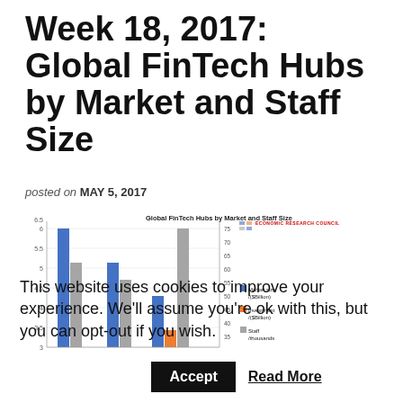Week 18, 2017: Global FinTech Hubs by Market and Staff Size
posted on MAY 5, 2017
[Figure (grouped-bar-chart): Global FinTech Hubs by Market and Staff Size]
This website uses cookies to improve your experience. We'll assume you're ok with this, but you can opt-out if you wish.